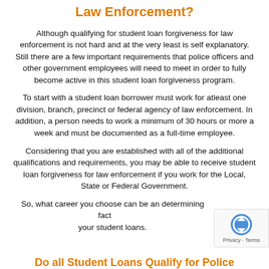Law Enforcement?
Although qualifying for student loan forgiveness for law enforcement is not hard and at the very least is self explanatory. Still there are a few important requirements that police officers and other government employees will need to meet in order to fully become active in this student loan forgiveness program.
To start with a student loan borrower must work for atleast one division, branch, precinct or federal agency of law enforcement. In addition, a person needs to work a minimum of 30 hours or more a week and must be documented as a full-time employee.
Considering that you are established with all of the additional qualifications and requirements, you may be able to receive student loan forgiveness for law enforcement if you work for the Local, State or Federal Government.
So, what career you choose can be an determining factor in your student loans.
Do all Student Loans Qualify for Police